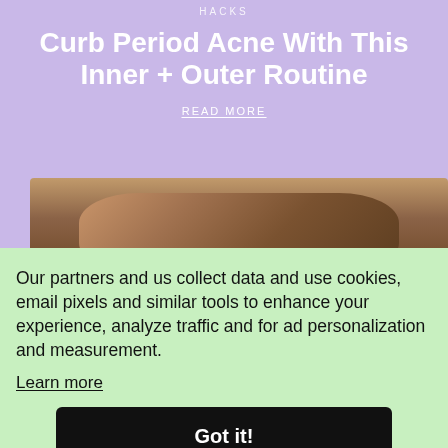HACKS
Curb Period Acne With This Inner + Outer Routine
READ MORE
[Figure (photo): Close-up photo of a person's face, showing brown skin in a curved composition from above]
Our partners and us collect data and use cookies, email pixels and similar tools to enhance your experience, analyze traffic and for ad personalization and measurement.
Learn more
Got it!
[Figure (photo): Bottom of page showing partial image with yellow and white shapes]